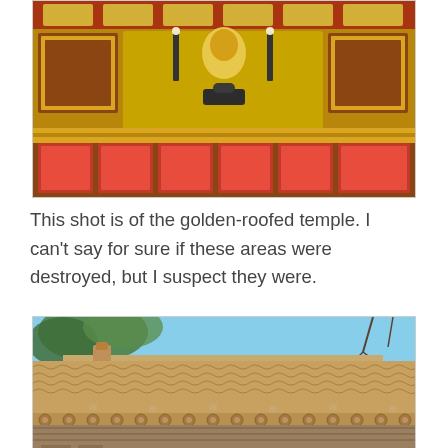[Figure (photo): Interior of a golden-roofed Buddhist temple showing ornate golden altar with statues, candles, incense burner, and decorative panels in red and gold.]
This shot is of the golden-roofed temple. I can't say for sure if these areas were destroyed, but I suspect they were.
[Figure (photo): Exterior close-up view of a traditional Chinese temple roof with glazed yellow/tan curved roof tiles and decorative eave ends, with trees and sky visible in background.]